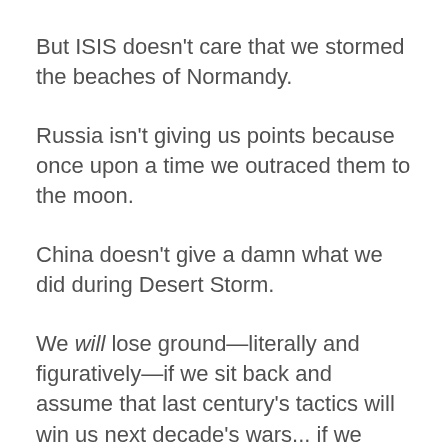But ISIS doesn't care that we stormed the beaches of Normandy.
Russia isn't giving us points because once upon a time we outraced them to the moon.
China doesn't give a damn what we did during Desert Storm.
We will lose ground—literally and figuratively—if we sit back and assume that last century's tactics will win us next decade's wars... if we believe that 2030's battles will be decided solely by how much money we spend on fighter